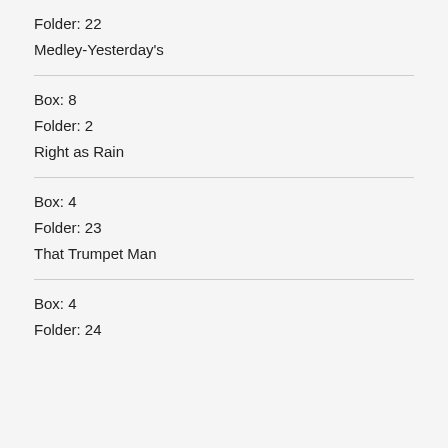Folder: 22
Medley-Yesterday's
Box: 8
Folder: 2
Right as Rain
Box: 4
Folder: 23
That Trumpet Man
Box: 4
Folder: 24